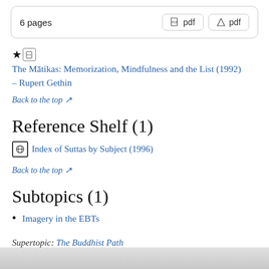6 pages
The Mātikas: Memorization, Mindfulness and the List (1992) – Rupert Gethin
Back to the top ↗
Reference Shelf (1)
Index of Suttas by Subject (1996)
Back to the top ↗
Subtopics (1)
Imagery in the EBTs
Supertopic: The Buddhist Path